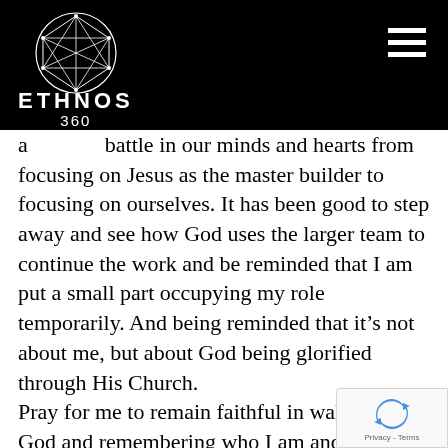[Figure (logo): Ethnos360 logo: geometric diamond/globe shape made of interconnected triangles and lines on black background, with text ETHNOS in bold white letters and 360 below]
a ... battle in our minds and hearts from focusing on Jesus as the master builder to focusing on ourselves. It has been good to step away and see how God uses the larger team to continue the work and be reminded that I am put a small part occupying my role temporarily. And being reminded that it’s not about me, but about God being glorified through His Church.
Pray for me to remain faithful in walking with God and remembering who I am and who HE is!
PARTNERING WITH THE EXISTING CHU...